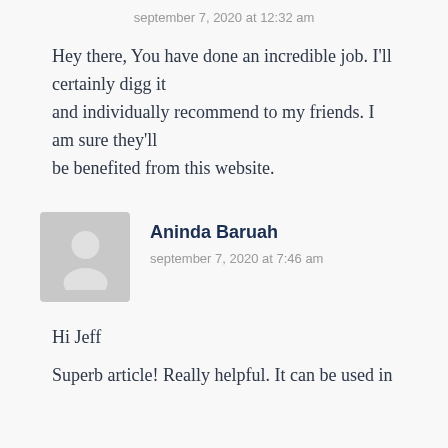september 7, 2020 at 12:32 am
Hey there, You have done an incredible job. I'll certainly digg it and individually recommend to my friends. I am sure they'll be benefited from this website.
Aninda Baruah
september 7, 2020 at 7:46 am
Hi Jeff
Superb article! Really helpful. It can be used in